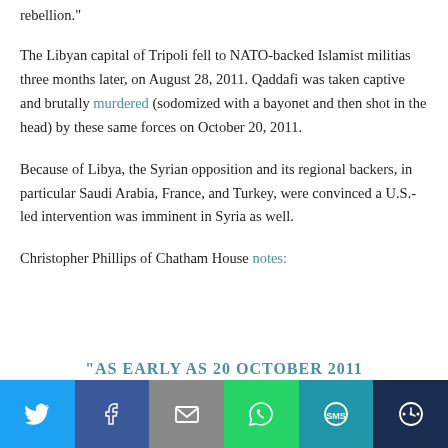rebellion."
The Libyan capital of Tripoli fell to NATO-backed Islamist militias three months later, on August 28, 2011. Qaddafi was taken captive and brutally murdered (sodomized with a bayonet and then shot in the head) by these same forces on October 20, 2011.
Because of Libya, the Syrian opposition and its regional backers, in particular Saudi Arabia, France, and Turkey, were convinced a U.S.-led intervention was imminent in Syria as well.
Christopher Phillips of Chatham House notes:
"AS EARLY AS 20 OCTOBER 2011
[Figure (other): Social media share bar with buttons for Twitter, Facebook, Email, WhatsApp, SMS, and More]